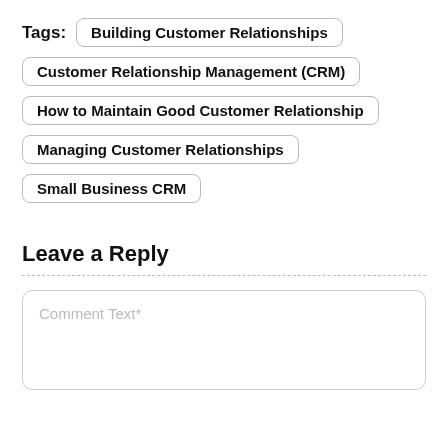Tags: Building Customer Relationships
Customer Relationship Management (CRM)
How to Maintain Good Customer Relationship
Managing Customer Relationships
Small Business CRM
Leave a Reply
Comment Text*